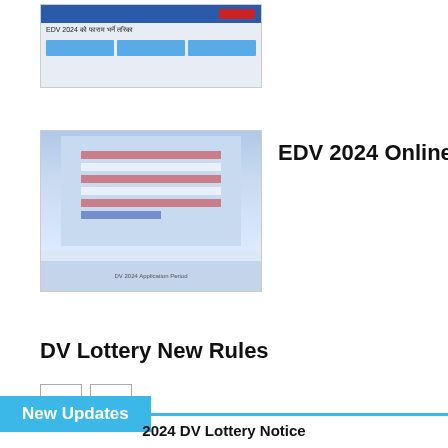[Figure (screenshot): Small thumbnail of a webpage showing EDV 2024 content with blue header bar and table]
[Figure (photo): Thumbnail image of a US flag with light blue background, labeled DV 2024 Application Period]
EDV 2024 Online Form !!!
DV Lottery New Rules
New Updates
2024 DV Lottery Notice